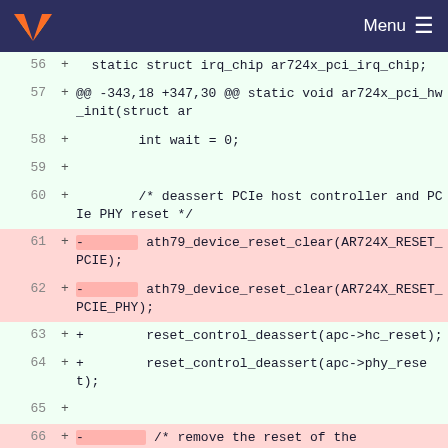[Figure (screenshot): GitLab navigation bar with logo and Menu hamburger icon on dark navy background]
56 + static struct irq_chip ar724x_pci_irq_chip;
57 + @@ -343,18 +347,30 @@ static void ar724x_pci_hw_init(struct ar
58 +         int wait = 0;
59 +
60 +         /* deassert PCIe host controller and PCIe PHY reset */
61 + -         ath79_device_reset_clear(AR724X_RESET_PCIE);
62 + -         ath79_device_reset_clear(AR724X_RESET_PCIE_PHY);
63 + +         reset_control_deassert(apc->hc_reset);
64 + +         reset_control_deassert(apc->phy_reset);
65 +
66 + -         /* remove the reset of the